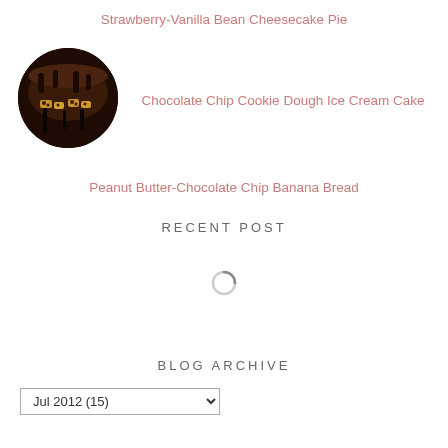Strawberry-Vanilla Bean Cheesecake Pie
[Figure (photo): Circular thumbnail photo of a chocolate chip cookie dough ice cream cake, dark chocolate dripping, showing gold/yellow cookie dough pieces]
Chocolate Chip Cookie Dough Ice Cream Cake
Peanut Butter-Chocolate Chip Banana Bread
RECENT POST
[Figure (other): Loading spinner icon (circular arc spinner)]
BLOG ARCHIVE
Jul 2012 (15)